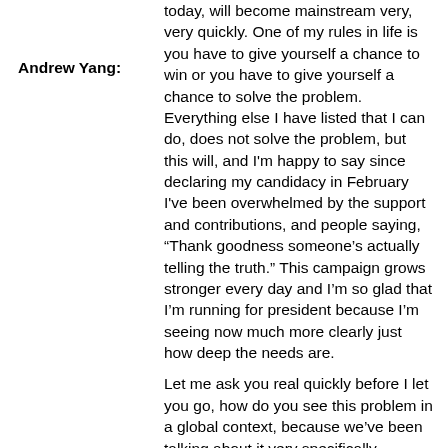Andrew Yang:
today, will become mainstream very, very quickly. One of my rules in life is you have to give yourself a chance to win or you have to give yourself a chance to solve the problem. Everything else I have listed that I can do, does not solve the problem, but this will, and I'm happy to say since declaring my candidacy in February I've been overwhelmed by the support and contributions, and people saying, “Thank goodness someone's actually telling the truth.” This campaign grows stronger every day and I'm so glad that I'm running for president because I'm seeing now much more clearly just how deep the needs are.
Let me ask you real quickly before I let you go, how do you see this problem in a global context, because we've been talking about it very specifically